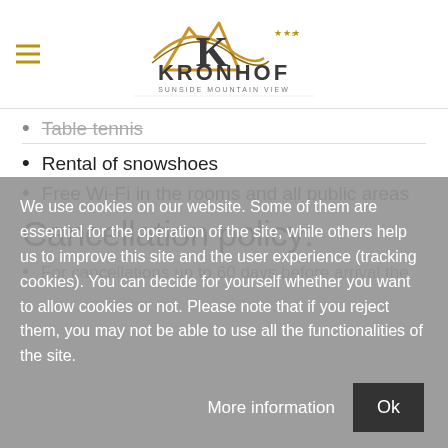[Figure (logo): Kronhof hotel logo with mountain graphic and text 'KRONHOF SUNSIDE MOUNTAIN VIEW' with stars]
Table tennis (partially visible, cut off)
Rental of snowshoes
Free Wi-Fi in the rooms and all public areas
Cancellation policy:
For cancellations up to 60 days before arrival the deposit will be (partially visible)
We use cookies on our website. Some of them are essential for the operation of the site, while others help us to improve this site and the user experience (tracking cookies). You can decide for yourself whether you want to allow cookies or not. Please note that if you reject them, you may not be able to use all the functionalities of the site.
Ok
More information